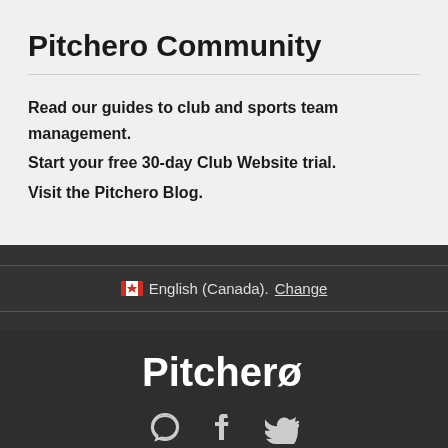Pitchero Community
Read our guides to club and sports team management.
Start your free 30-day Club Website trial.
Visit the Pitchero Blog.
🇨🇦 English (Canada). Change
[Figure (logo): Pitchero logo in white text on dark background]
[Figure (other): Social media icons: chat bubble, Facebook f, Twitter bird]
Help Centre
About